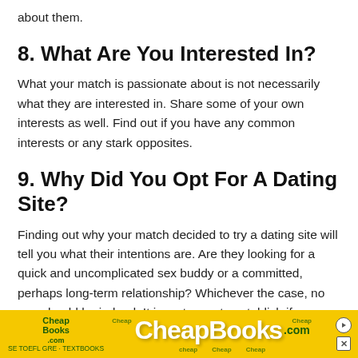about them.
8. What Are You Interested In?
What your match is passionate about is not necessarily what they are interested in. Share some of your own interests as well. Find out if you have any common interests or any stark opposites.
9. Why Did You Opt For A Dating Site?
Finding out why your match decided to try a dating site will tell you what their intentions are. Are they looking for a quick and uncomplicated sex buddy or a committed, perhaps long-term relationship? Whichever the case, no one should be judged. It is up to you to establish if your match is looking for
[Figure (screenshot): CheapBooks.com advertisement banner at the bottom of the page, yellow background with green and white text logo]